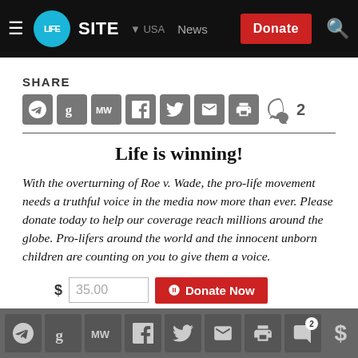LIFESITE USA News [Donate] [Search]
SHARE
[Figure (screenshot): Row of social share icons: Telegram, Gettr, MeWe, Facebook, Twitter, Email, Print, Comments (2)]
Life is winning!
With the overturning of Roe v. Wade, the pro-life movement needs a truthful voice in the media now more than ever. Please donate today to help our coverage reach millions around the globe. Pro-lifers around the world and the innocent unborn children are counting on you to give them a voice.
[Figure (screenshot): Donation input showing $35.00 and a red Donate Now button]
Bottom toolbar with social share icons and dollar sign